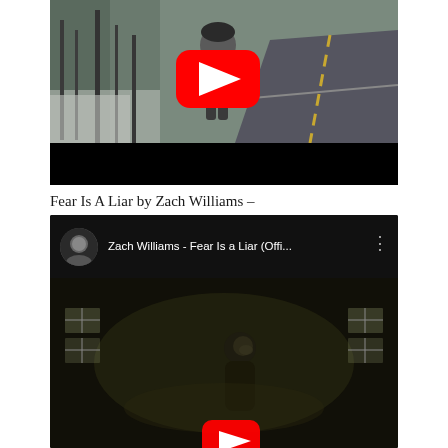[Figure (screenshot): YouTube embedded video player showing a man running on a snowy road through winter forest, with a red YouTube play button overlay. Black progress bar at bottom.]
Fear Is A Liar by Zach Williams –
[Figure (screenshot): YouTube embedded video showing Zach Williams - Fear Is a Liar (Offi...) with channel avatar, title bar, three-dot menu, and preview image of a man in a dimly lit space with a YouTube play button.]